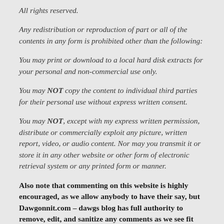All rights reserved.
Any redistribution or reproduction of part or all of the contents in any form is prohibited other than the following:
You may print or download to a local hard disk extracts for your personal and non-commercial use only.
You may NOT copy the content to individual third parties for their personal use without express written consent.
You may NOT, except with my express written permission, distribute or commercially exploit any picture, written report, video, or audio content. Nor may you transmit it or store it in any other website or other form of electronic retrieval system or any printed form or manner.
Also note that commenting on this website is highly encouraged, as we allow anybody to have their say, but Dawgonnit.com – dawgs blog has full authority to remove, edit, and sanitize any comments as we see fit